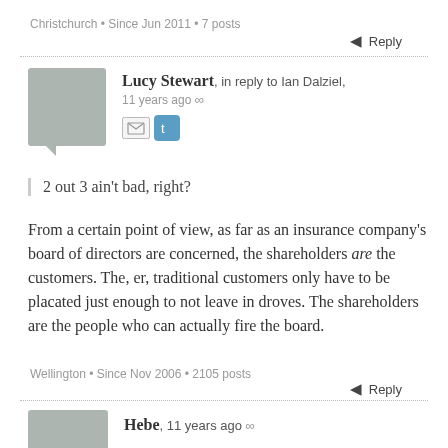Christchurch • Since Jun 2011 • 7 posts
← Reply
Lucy Stewart, in reply to Ian Dalziel, 11 years ago ∞
2 out 3 ain't bad, right?
From a certain point of view, as far as an insurance company's board of directors are concerned, the shareholders are the customers. The, er, traditional customers only have to be placated just enough to not leave in droves. The shareholders are the people who can actually fire the board.
Wellington • Since Nov 2006 • 2105 posts
← Reply
Hebe, 11 years ago ∞
Nicky Wagner, one of our local MPs, just very kindly dropped past to review our fire, but I...